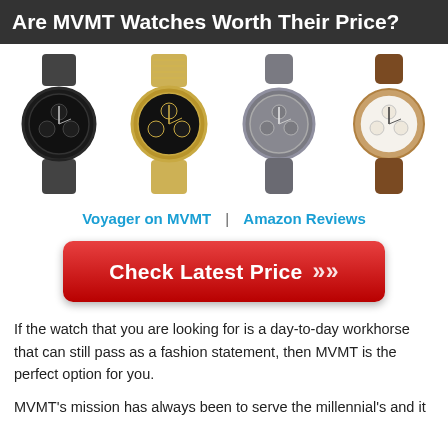Are MVMT Watches Worth Their Price?
[Figure (photo): Four MVMT watches displayed side by side: a black mesh-band chronograph, a gold mesh-band chronograph, a gray leather-band watch, and a brown leather-band watch with white dial.]
Voyager on MVMT  |  Amazon Reviews
[Figure (other): Red button with white bold text reading 'Check Latest Price' with double chevron arrows pointing right.]
If the watch that you are looking for is a day-to-day workhorse that can still pass as a fashion statement, then MVMT is the perfect option for you.
MVMT's mission has always been to serve the millennial's and it